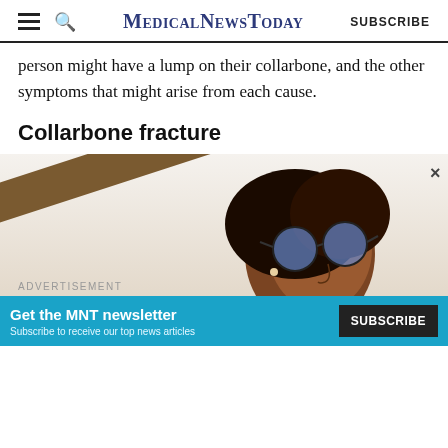MedicalNewsToday | SUBSCRIBE
person might have a lump on their collarbone, and the other symptoms that might arise from each cause.
Collarbone fracture
[Figure (photo): A young Black woman wearing sunglasses looking upward, photographed from a low angle with a diagonal element in the background.]
ADVERTISEMENT
Get the MNT newsletter Subscribe to receive our top news articles SUBSCRIBE